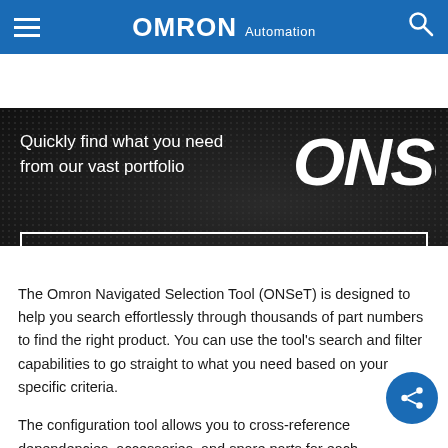[Figure (screenshot): Omron Automation website header with OMRON logo and navigation icons]
[Figure (screenshot): ONSeT hero banner with tagline and login button on dark dotted background]
The Omron Navigated Selection Tool (ONSeT) is designed to help you search effortlessly through thousands of part numbers to find the right product. You can use the tool's search and filter capabilities to go straight to what you need based on your specific criteria.
The configuration tool allows you to cross-reference dependencies, accessories, and spare parts for each